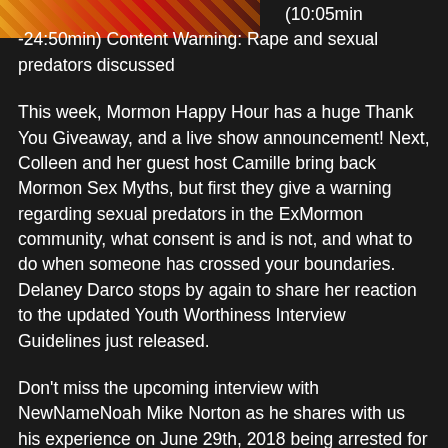[Figure (illustration): Partial podcast cover art showing colorful illustrated characters on dark background, cropped at top]
(10:05min -24:50min) Content Warning: Rape and sexual predators discussed
This week, Mormon Happy Hour has a huge Thank You Giveaway, and a live show announcement! Next, Colleen and her guest host Camille bring back Mormon Sex Myths, but first they give a warning regarding sexual predators in the ExMormon community, what consent is and is not, and what to do when someone has crossed your boundaries. Delaney Darco stops by again to share her reaction to the updated Youth Worthiness Interview Guidelines just released.
Don't miss the upcoming interview with NewNameNoah Mike Norton as he shares with us his experience on June 29th, 2018 being arrested for trespassing at the Jordan River Temple! He spent 5 hours in jail on his birthday!